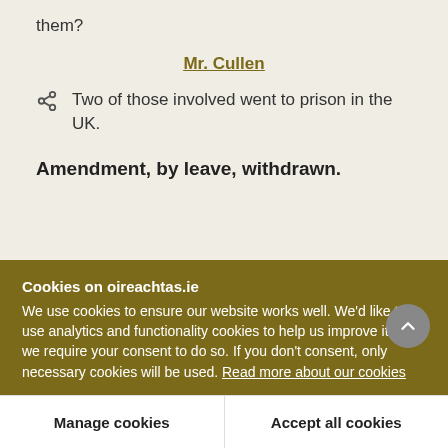them?
Mr. Cullen
Two of those involved went to prison in the UK.
Amendment, by leave, withdrawn.
Cookies on oireachtas.ie
We use cookies to ensure our website works well. We'd like to use analytics and functionality cookies to help us improve it but we require your consent to do so. If you don't consent, only necessary cookies will be used. Read more about our cookies
Manage cookies
Accept all cookies